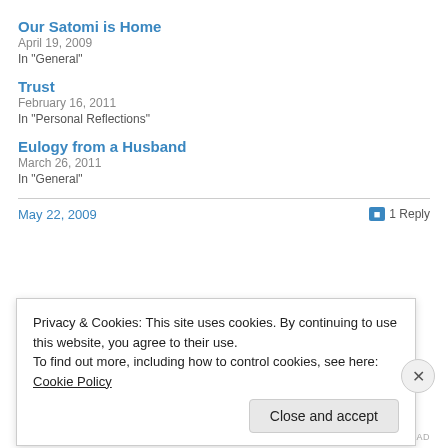Our Satomi is Home
April 19, 2009
In "General"
Trust
February 16, 2011
In "Personal Reflections"
Eulogy from a Husband
March 26, 2011
In "General"
May 22, 2009
1 Reply
Privacy & Cookies: This site uses cookies. By continuing to use this website, you agree to their use.
To find out more, including how to control cookies, see here: Cookie Policy
Close and accept